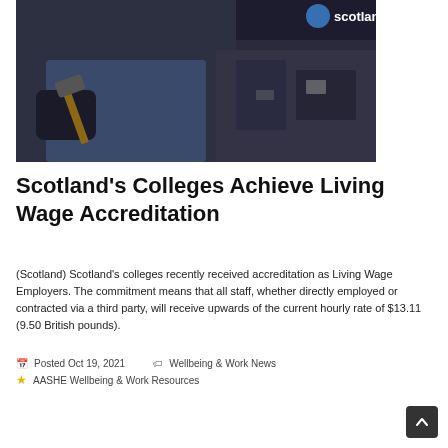[Figure (photo): A person wearing blue work clothes and dark gloves hammering metal at a workshop machine. A partial logo reading 'scotland' appears in the upper right of the image.]
Scotland's Colleges Achieve Living Wage Accreditation
(Scotland) Scotland's colleges recently received accreditation as Living Wage Employers. The commitment means that all staff, whether directly employed or contracted via a third party, will receive upwards of the current hourly rate of $13.11 (9.50 British pounds).
Posted Oct 19, 2021  Wellbeing & Work News  AASHE Wellbeing & Work Resources